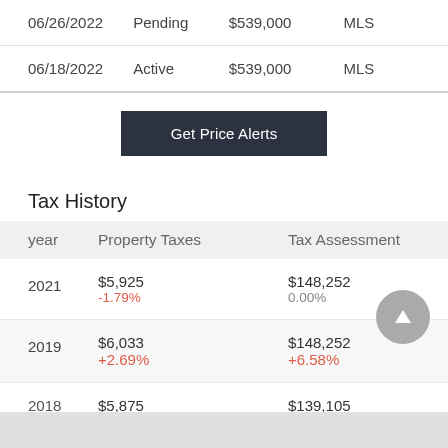| Date | Status | Price | Source |
| --- | --- | --- | --- |
| 06/26/2022 | Pending | $539,000 | MLS |
| 06/18/2022 | Active | $539,000 | MLS |
Get Price Alerts
Tax History
| year | Property Taxes | Tax Assessment |
| --- | --- | --- |
| 2021 | $5,925
-1.79% | $148,252
0.00% |
| 2019 | $6,033
+2.69% | $148,252
+6.58% |
| 2018 | $5,875 | $139,105 |